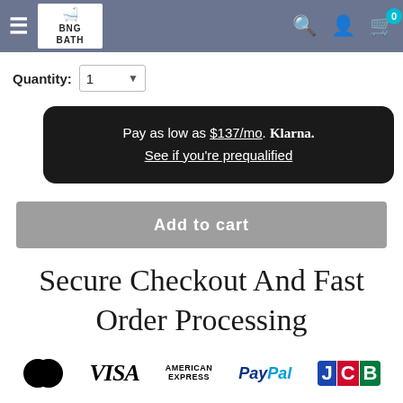BNG BATH — navigation header with logo, search, account, and cart icons
Quantity: 1
Pay as low as $137/mo. Klarna. See if you're prequalified
Add to cart
Secure Checkout And Fast Order Processing
[Figure (logo): Payment method logos: Mastercard, VISA, American Express, PayPal, JCB]